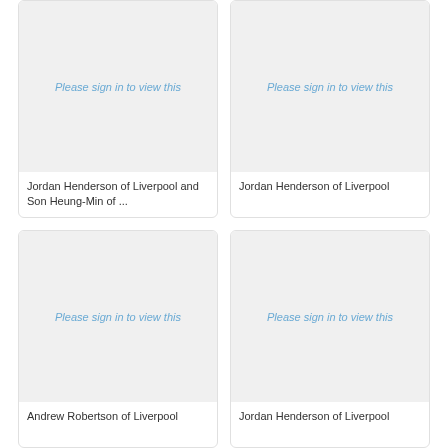[Figure (photo): Placeholder image with sign-in prompt]
Jordan Henderson of Liverpool and Son Heung-Min of ...
[Figure (photo): Placeholder image with sign-in prompt]
Jordan Henderson of Liverpool
[Figure (photo): Placeholder image with sign-in prompt]
Andrew Robertson of Liverpool
[Figure (photo): Placeholder image with sign-in prompt]
Jordan Henderson of Liverpool